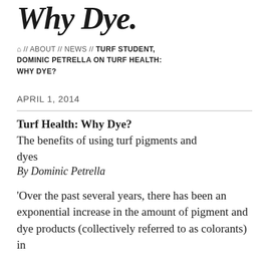Why Dye.
⌂ // ABOUT // NEWS // TURF STUDENT, DOMINIC PETRELLA ON TURF HEALTH: WHY DYE?
APRIL 1, 2014
Turf Health: Why Dye?
The benefits of using turf pigments and dyes
By Dominic Petrella
'Over the past several years, there has been an exponential increase in the amount of pigment and dye products (collectively referred to as colorants) in